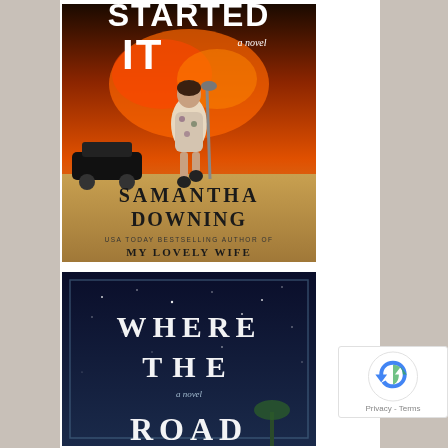[Figure (illustration): Book cover: 'She Started It' by Samantha Downing. Shows a woman in a floral dress walking and carrying a shovel, with a burning explosion and a car in the background. Text includes the title, 'a novel', author name 'SAMANTHA DOWNING', and 'USA TODAY BESTSELLING AUTHOR OF MY LOVELY WIFE'.]
[Figure (illustration): Book cover: 'Where the Road' (partially visible) – 'a novel'. Dark blue night sky with stars background. White serif text showing 'WHERE THE' and partially 'ROAD'. Small text 'a novel'.]
[Figure (other): Google reCAPTCHA badge with spinning arrows icon and 'Privacy - Terms' text.]